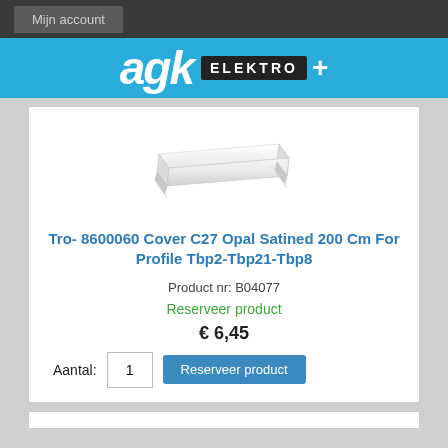Mijn account
[Figure (logo): AGK Elektro+ logo on cyan background]
[Figure (photo): White plastic C-shaped LED profile cover, opal satined finish, viewed from angle]
Tro- 8600060 Cover C27 Opal Satined 200 Cm For Profile Tbp2-Tbp21-Tbp8
Product nr: B04077
Reserveer product
€ 6,45
Aantal: 1  Reserveer product